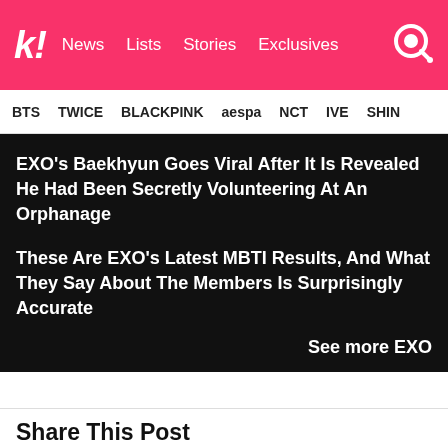Koreaboo — News | Lists | Stories | Exclusives
BTS  TWICE  BLACKPINK  aespa  NCT  IVE  SHINee
EXO's Baekhyun Goes Viral After It Is Revealed He Had Been Secretly Volunteering At An Orphanage
These Are EXO's Latest MBTI Results, And What They Say About The Members Is Surprisingly Accurate
See more EXO
Share This Post
Facebook
Twitter